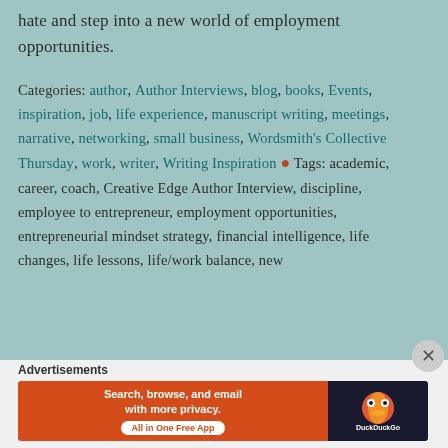hate and step into a new world of employment opportunities.
Categories: author, Author Interviews, blog, books, Events, inspiration, job, life experience, manuscript writing, meetings, narrative, networking, small business, Wordsmith's Collective Thursday, work, writer, Writing Inspiration • Tags: academic, career, coach, Creative Edge Author Interview, discipline, employee to entrepreneur, employment opportunities, entrepreneurial mindset strategy, financial intelligence, life changes, life lessons, life/work balance, new
Advertisements
[Figure (other): DuckDuckGo advertisement banner: 'Search, browse, and email with more privacy. All in One Free App' with DuckDuckGo logo on dark background.]